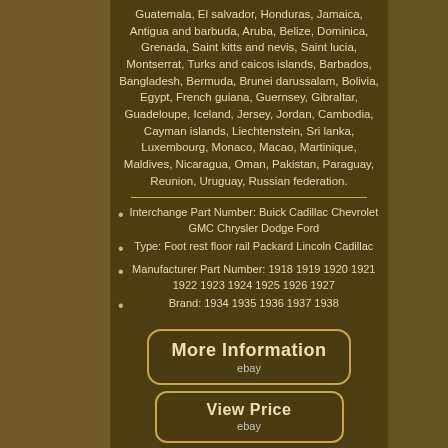Guatemala, El salvador, Honduras, Jamaica, Antigua and barbuda, Aruba, Belize, Dominica, Grenada, Saint kitts and nevis, Saint lucia, Montserrat, Turks and caicos islands, Barbados, Bangladesh, Bermuda, Brunei darussalam, Bolivia, Egypt, French guiana, Guernsey, Gibraltar, Guadeloupe, Iceland, Jersey, Jordan, Cambodia, Cayman islands, Liechtenstein, Sri lanka, Luxembourg, Monaco, Macao, Martinique, Maldives, Nicaragua, Oman, Pakistan, Paraguay, Reunion, Uruguay, Russian federation.
Interchange Part Number: Buick Cadillac Chevrolet GMC Chrysler Dodge Ford
Type: Foot rest floor rail Packard Lincoln Cadillac
Manufacturer Part Number: 1918 1919 1920 1921 1922 1923 1924 1925 1926 1927
Brand: 1934 1935 1936 1937 1938
[Figure (other): Button/link labeled 'More Information' with eBay logo below, rounded rectangle border in gold on dark brown background]
[Figure (other): Button/link labeled 'View Price' with eBay logo below, rounded rectangle border in gold on dark brown background]